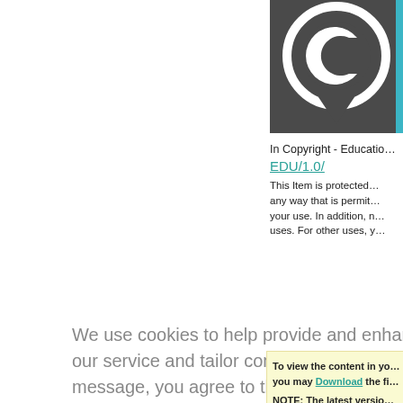[Figure (logo): Creative Commons / Copyright symbol logo — a dark grey circle with a C inside, pointed at bottom like a location pin, with a blue strip on the right edge]
In Copyright - Educatio…
EDU/1.0/
This Item is protected… any way that is permit… your use. In addition, n… uses. For other uses, y…
We use cookies to help provide and enhance our service and tailor content. By closing this message, you agree to the use of cookies.
Close
To view the content in yo… you may Download the fi…

NOTE: The latest versio… OS and if you are using a…